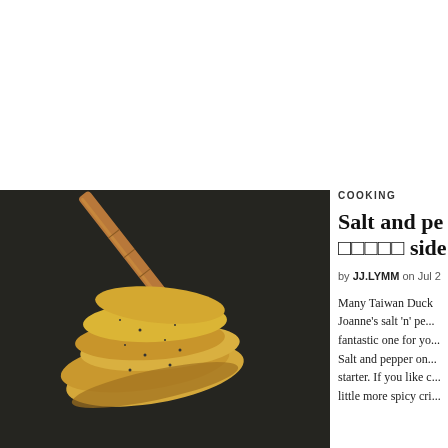[Figure (photo): A close-up photo of salt and pepper fried food (likely tofu or squash fritters) being held by wooden chopsticks against a dark background.]
COOKING
Salt and pe... □□□□□ side d...
by JJ.LYMM on Jul 2
Many Taiwan Duck... Joanne's salt 'n' pe... fantastic one for yo... Salt and pepper on... starter. If you like c... little more spicy cri...